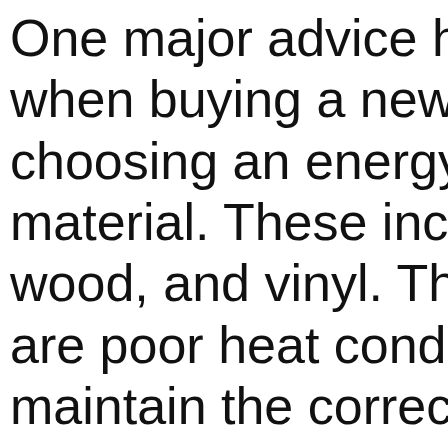One major advice h when buying a new choosing an energy material. These incl wood, and vinyl. Th are poor heat condu maintain the correct of the room. Therefo need to keep the h